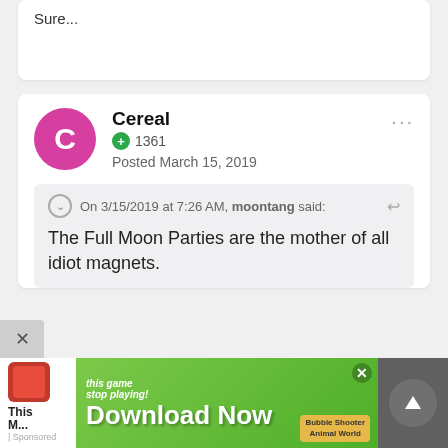Sure...
Cereal
1361
Posted March 15, 2019
On 3/15/2019 at 7:26 AM, moontang said:
The Full Moon Parties are the mother of all idiot magnets.
[Figure (screenshot): Advertisement banner at bottom: 'Download Now' mobile game ad for Bubble Shooter Animal World]